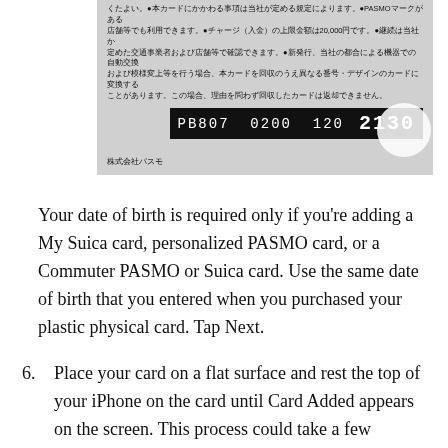[Figure (photo): Gray transit card showing Japanese text on the back and a card number strip reading 'PB807 0200 120 2130' with a circle magnifying the last digits '2130'. Company name 株式会社パスモ at bottom left.]
Your date of birth is required only if you're adding a My Suica card, personalized PASMO card, or a Commuter PASMO or Suica card. Use the same date of birth that you entered when you purchased your plastic physical card. Tap Next.
6. Place your card on a flat surface and rest the top of your iPhone on the card until Card Added appears on the screen. This process could take a few minutes to complete.